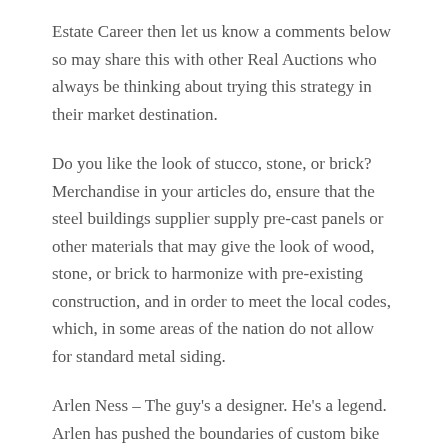Estate Career then let us know a comments below so may share this with other Real Auctions who always be thinking about trying this strategy in their market destination.
Do you like the look of stucco, stone, or brick? Merchandise in your articles do, ensure that the steel buildings supplier supply pre-cast panels or other materials that may give the look of wood, stone, or brick to harmonize with pre-existing construction, and in order to meet the local codes, which, in some areas of the nation do not allow for standard metal siding.
Arlen Ness – The guy's a designer. He's a legend. Arlen has pushed the boundaries of custom bike design further than any single individual I'm able to think connected with. Many of Arlen's unique ideas have made their way onto stock bikes. A real pioneer.
Are you able to produce me with buyer testimonials? How about